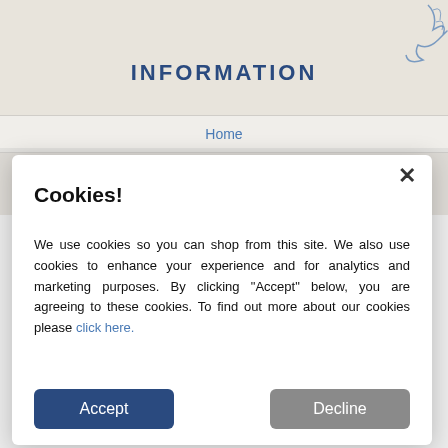INFORMATION
Home
Cookies!
We use cookies so you can shop from this site. We also use cookies to enhance your experience and for analytics and marketing purposes. By clicking "Accept" below, you are agreeing to these cookies. To find out more about our cookies please click here.
Accept
Decline